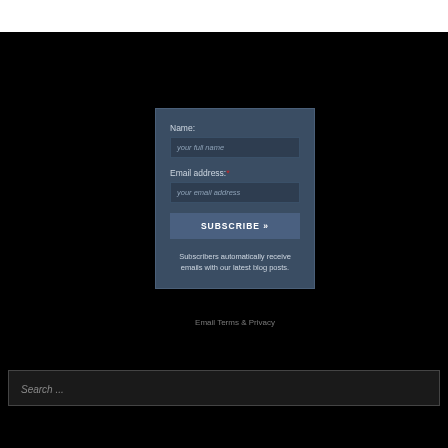[Figure (screenshot): Email subscription form widget with fields for Name and Email address, a SUBSCRIBE button, and descriptive text about receiving blog post emails. Set against a dark blue-grey background.]
Email Terms & Privacy
Search ...